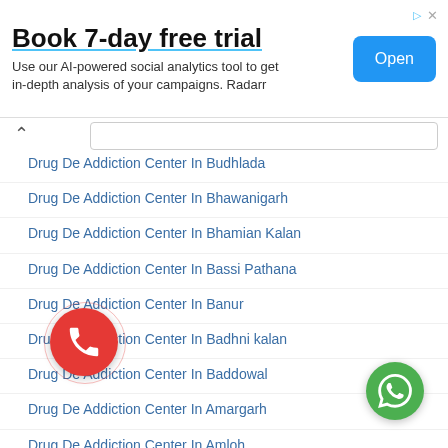[Figure (screenshot): Advertisement banner: 'Book 7-day free trial' with Open button]
Drug De Addiction Center In Budhlada
Drug De Addiction Center In Bhawanigarh
Drug De Addiction Center In Bhamian Kalan
Drug De Addiction Center In Bassi Pathana
Drug De Addiction Center In Banur
Drug De Addiction Center In Badhni kalan
Drug De Addiction Center In Baddowal
Drug De Addiction Center In Amargarh
Drug De Addiction Center In Amloh
Drug De Addiction Center In Ahmedgarh